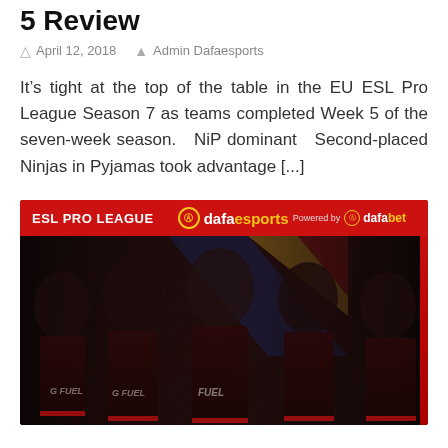5 Review
April 12, 2018   Admin Dafaesports
It’s tight at the top of the table in the EU ESL Pro League Season 7 as teams completed Week 5 of the seven-week season.   NiP dominant   Second-placed Ninjas in Pyjamas took advantage [...]
[Figure (photo): ESL Pro League banner with five esports players in red and black jerseys (G FUEL branded) posing against a dark background with diagonal flag color stripes (blue, yellow, red). Top bar shows ESL PRO LEAGUE logo and dafaesports Powered by dafabet branding.]
ESL Pro League Season 7 – EU